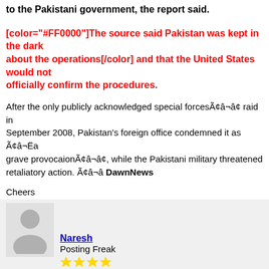to the Pakistani government, the report said.
[color="#FF0000"]The source said Pakistan was kept in the dark about the operations[/color] and that the United States would not officially confirm the procedures.
After the only publicly acknowledged special forces¢â¬â¢ raid in September 2008, Pakistan's foreign office condemned it as ¢â¬Ëgrave provocation¢â¬â¢, while the Pakistani military threatened retaliatory action. ¢â¬â DawnNews
Cheers
Naresh
Posting Freak
Joined: Nov 2004